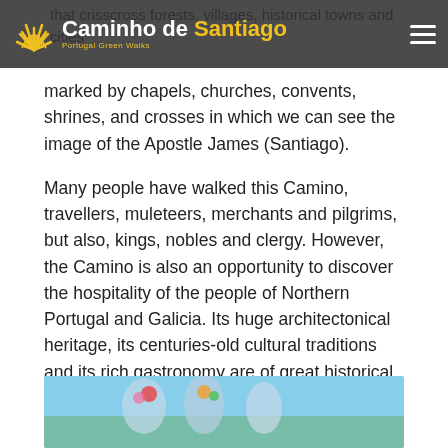Caminho de Santiago – Portugal Green Walks
that crisscross forests, villages, historical towns and cities marked by chapels, churches, convents, shrines, and crosses in which we can see the image of the Apostle James (Santiago).
Many people have walked this Camino, travellers, muleteers, merchants and pilgrims, but also, kings, nobles and clergy. However, the Camino is also an opportunity to discover the hospitality of the people of Northern Portugal and Galicia. Its huge architectonical heritage, its centuries-old cultural traditions and its rich gastronomy are of great historical value.
Accept our challenge and discover the Portuguese route to Santiago!
[Figure (photo): Photograph of people on the Camino de Santiago route, partially visible at the bottom of the page]